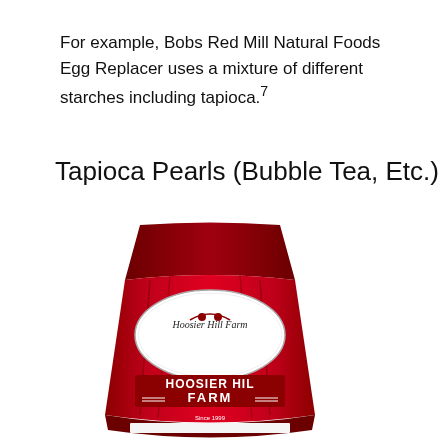For example, Bobs Red Mill Natural Foods Egg Replacer uses a mixture of different starches including tapioca.7
Tapioca Pearls (Bubble Tea, Etc.)
[Figure (photo): A red resealable bag of Hoosier Hill Farm tapioca pearls product, featuring the Hoosier Hill Farm logo in an oval, and large text reading HOOSIER HILL FARM Since 1999.]